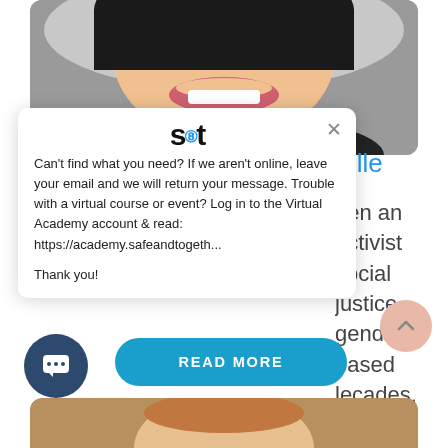[Figure (photo): Partial photo of a woman smiling, cropped to show lower face and shoulders, dark background]
[Figure (screenshot): Chat widget popup with Safe & Together logo, close button, and message: Can't find what you need? If we aren't online, leave your email and we will return your message. Trouble with a virtual course or event? Log in to the Virtual Academy account & read: https://academy.safeandtogeth... Thank you!]
telle
een an activist social justice gender-based lecades. She has king with several ons across the tes...
[Figure (photo): Partial photo of another person visible at bottom of page]
READ MORE